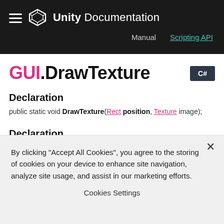Unity Documentation — Manual | Scripting API
GUI.DrawTexture
Declaration
public static void DrawTexture(Rect position, Texture image);
Declaration
public static void DrawTexture(Rect position, Texture image,
By clicking "Accept All Cookies", you agree to the storing of cookies on your device to enhance site navigation, analyze site usage, and assist in our marketing efforts.
Cookies Settings